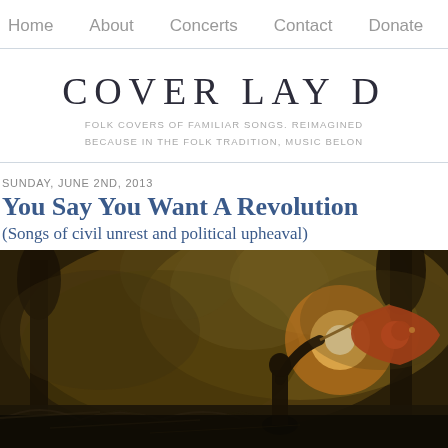Home   About   Concerts   Contact   Donate
COVER LAY D
FOLK COVERS OF FAMILIAR SONGS. REIMAGINED
BECAUSE IN THE FOLK TRADITION, MUSIC BELON
SUNDAY, JUNE 2ND, 2013
You Say You Want A Revolution
(Songs of civil unrest and political upheaval)
[Figure (photo): A person waving a Turkish flag amid smoke, debris and trees at night during civil unrest protests]